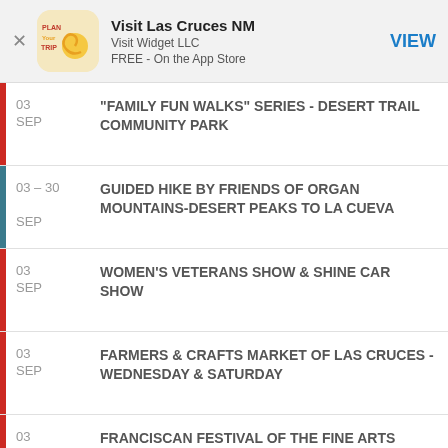[Figure (screenshot): App store banner for 'Visit Las Cruces NM' by Visit Widget LLC, FREE on the App Store, with a VIEW button]
03 SEP - "FAMILY FUN WALKS" SERIES - DESERT TRAIL COMMUNITY PARK
03 - 30 SEP - GUIDED HIKE BY FRIENDS OF ORGAN MOUNTAINS-DESERT PEAKS TO LA CUEVA
03 SEP - WOMEN'S VETERANS SHOW & SHINE CAR SHOW
03 SEP - FARMERS & CRAFTS MARKET OF LAS CRUCES - WEDNESDAY & SATURDAY
03 SEP - FRANCISCAN FESTIVAL OF THE FINE ARTS